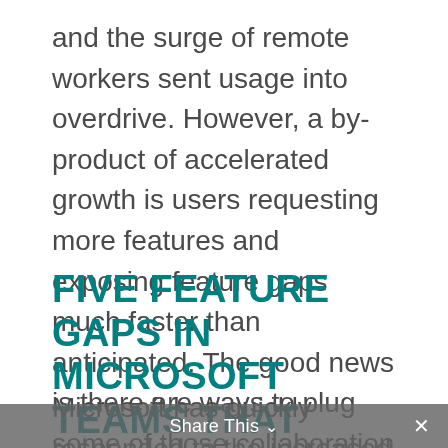and the surge of remote workers sent usage into overdrive. However, a by-product of accelerated growth is users requesting more features and exposing feature gaps much faster than anticipated. The good news is there are ways to plug some of those collaboration feature gaps and user frustrations – immediately and seamlessly. Let's explore.
FIVE FEATURE GAPS IN MICROSOFT TEAMS THAT IMPACT DATA SECURITY
Microsoft has quickly responded to the increased demand for enhancements to Teams. Thanks in part to competition from
Share This